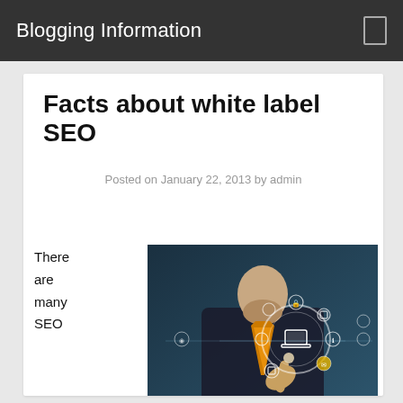Blogging Information
Facts about white label SEO
Posted on January 22, 2013 by admin
There are many SEO
[Figure (photo): Person in suit pointing finger at floating digital/technology icons including a laptop, globe, and other tech symbols, with an orange tie visible]